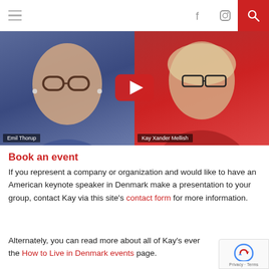Navigation bar with hamburger menu, Facebook icon, Instagram icon, and search button
[Figure (screenshot): YouTube video thumbnail showing two people in a video call: Emil Thorup (man with glasses in blue sweater on left) and Kay Xander Mellish (woman with glasses in red turtleneck on right), with YouTube play button overlay]
Book an event
If you represent a company or organization and would like to have an American keynote speaker in Denmark make a presentation to your group, contact Kay via this site's contact form for more information.
Alternately, you can read more about all of Kay's events on the How to Live in Denmark events page.